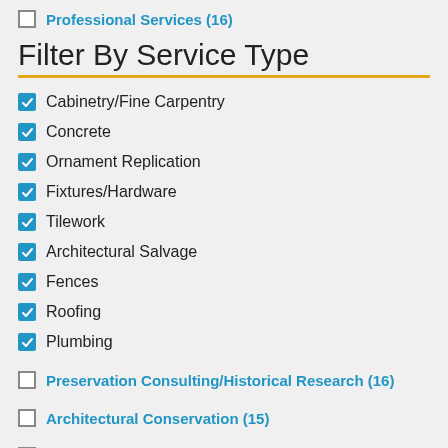Professional Services (16)
Filter By Service Type
Cabinetry/Fine Carpentry
Concrete
Ornament Replication
Fixtures/Hardware
Tilework
Architectural Salvage
Fences
Roofing
Plumbing
Preservation Consulting/Historical Research (16)
Architectural Conservation (15)
Architecture (10)